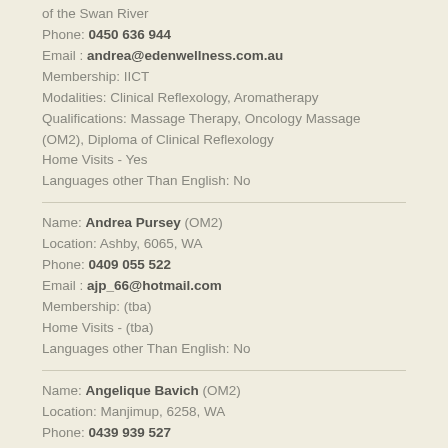of the Swan River
Phone: 0450 636 944
Email : andrea@edenwellness.com.au
Membership: IICT
Modalities: Clinical Reflexology, Aromatherapy
Qualifications: Massage Therapy, Oncology Massage (OM2), Diploma of Clinical Reflexology
Home Visits - Yes
Languages other Than English: No
Name: Andrea Pursey (OM2)
Location: Ashby, 6065, WA
Phone: 0409 055 522
Email : ajp_66@hotmail.com
Membership: (tba)
Home Visits - (tba)
Languages other Than English: No
Name: Angelique Bavich (OM2)
Location: Manjimup, 6258, WA
Phone: 0439 939 527
Email : ongie@westnet.com.au
Membership: (tba)
Home Visits - (tba)
Languages other Than English: No